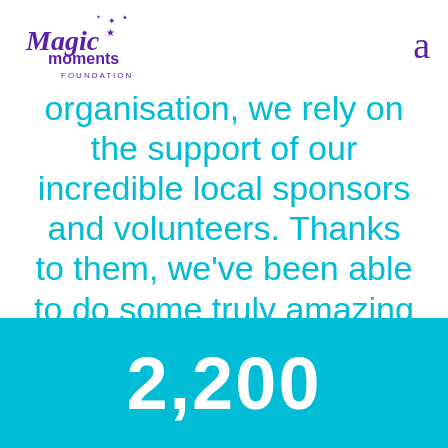[Figure (logo): Magic Moments Foundation logo with purple stylized text and star decorations]
a
organisation, we rely on the support of our incredible local sponsors and volunteers. Thanks to them, we've been able to do some truly amazing things..
2,200